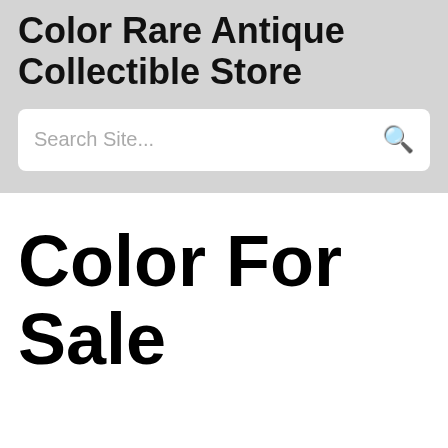Color Rare Antique Collectible Store
Search Site...
Color For Sale